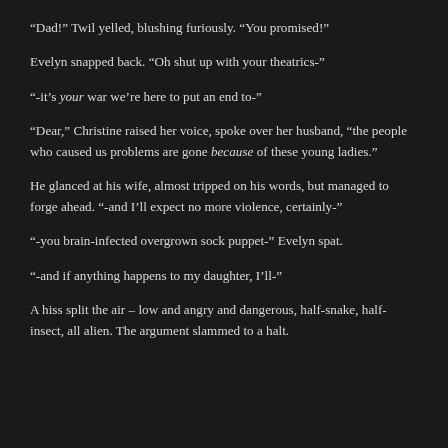“Dad!” Twil yelled, blushing furiously. “You promised!”
Evelyn snapped back. “Oh shut up with your theatrics-”
“-it’s your war we’re here to put an end to-”
“Dear,” Christine raised her voice, spoke over her husband, “the people who caused us problems are gone because of these young ladies.”
He glanced at his wife, almost tripped on his words, but managed to forge ahead. “-and I’ll expect no more violence, certainly-”
“-you brain-infected overgrown sock puppet-” Evelyn spat.
“-and if anything happens to my daughter, I’ll-”
A hiss split the air – low and angry and dangerous, half-snake, half-insect, all alien. The argument slammed to a halt.